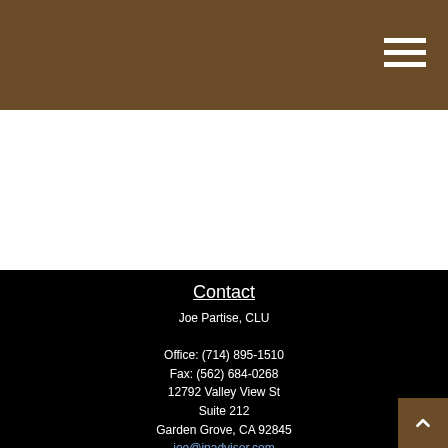Contact
Joe Partise, CLU
Office: (714) 895-1510
Fax: (562) 684-0268
12792 Valley View St
Suite 212
Garden Grove, CA 92845
joe@jpadvisor.com
Quick Links
Retirement
Investment
Estate